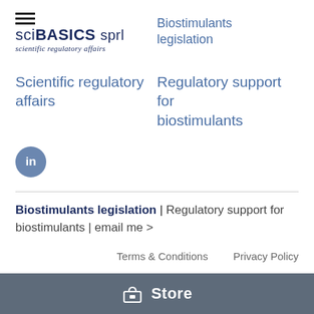[Figure (logo): sciBASICS sprl logo with hamburger menu icon and tagline 'scientific regulatory affairs']
Biostimulants legislation
Scientific regulatory affairs
Regulatory support for biostimulants
[Figure (logo): LinkedIn badge icon (circular blue badge with 'in')]
Biostimulants legislation | Regulatory support for biostimulants | email me >
Terms & Conditions   Privacy Policy
Store